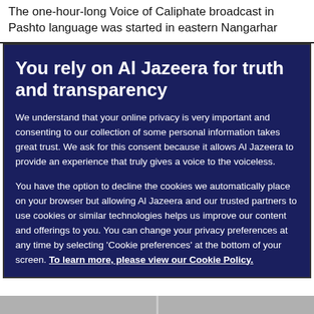The one-hour-long Voice of Caliphate broadcast in Pashto language was started in eastern Nangarhar
You rely on Al Jazeera for truth and transparency
We understand that your online privacy is very important and consenting to our collection of some personal information takes great trust. We ask for this consent because it allows Al Jazeera to provide an experience that truly gives a voice to the voiceless.
You have the option to decline the cookies we automatically place on your browser but allowing Al Jazeera and our trusted partners to use cookies or similar technologies helps us improve our content and offerings to you. You can change your privacy preferences at any time by selecting 'Cookie preferences' at the bottom of your screen. To learn more, please view our Cookie Policy.